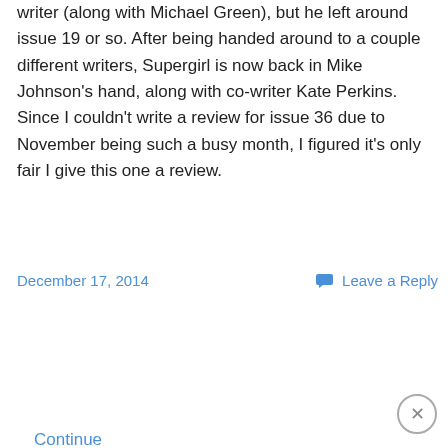writer (along with Michael Green), but he left around issue 19 or so. After being handed around to a couple different writers, Supergirl is now back in Mike Johnson's hand, along with co-writer Kate Perkins. Since I couldn't write a review for issue 36 due to November being such a busy month, I figured it's only fair I give this one a review.
Continue reading →
December 17, 2014
Leave a Reply
Privacy & Cookies: This site uses cookies. By continuing to use this website, you agree to their use.
To find out more, including how to control cookies, see here: Cookie Policy
Close and accept